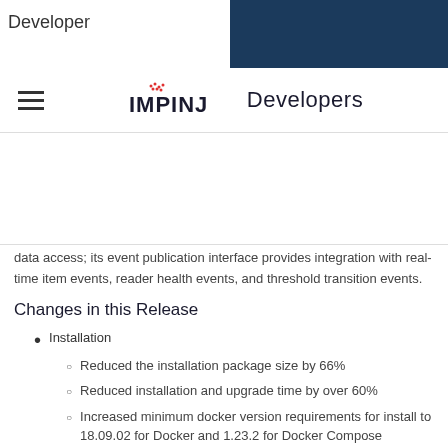Developer
[Figure (logo): Impinj Developers logo with hamburger menu icon]
data access; its event publication interface provides integration with real-time item events, reader health events, and threshold transition events.
Changes in this Release
Installation
Reduced the installation package size by 66%
Reduced installation and upgrade time by over 60%
Increased minimum docker version requirements for install to 18.09.02 for Docker and 1.23.2 for Docker Compose
During in-place upgrade, the user may